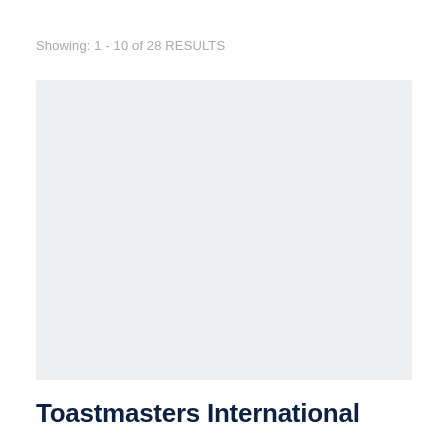Showing: 1 - 10 of 28 RESULTS
[Figure (other): Blank light gray rectangular placeholder image]
Toastmasters International